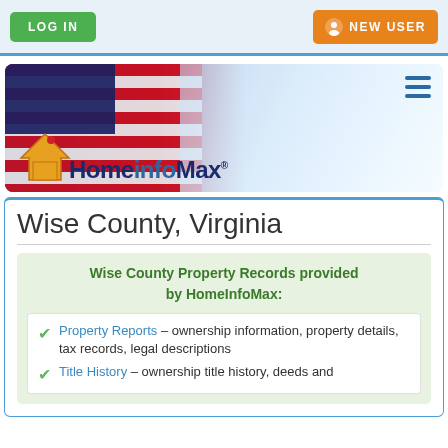LOG IN | NEW USER
[Figure (logo): HomeinfoMax banner with American flag background and house logo]
Wise County, Virginia
Wise County Property Records provided by HomeInfoMax:
Property Reports – ownership information, property details, tax records, legal descriptions
Title History – ownership title history, deeds and